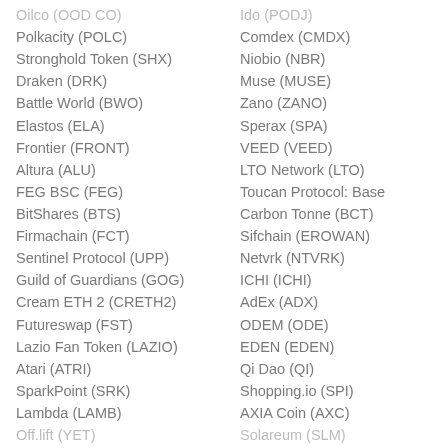Polkacity (POLC)
Stronghold Token (SHX)
Draken (DRK)
Battle World (BWO)
Elastos (ELA)
Frontier (FRONT)
Altura (ALU)
FEG BSC (FEG)
BitShares (BTS)
Firmachain (FCT)
Sentinel Protocol (UPP)
Guild of Guardians (GOG)
Cream ETH 2 (CRETH2)
Futureswap (FST)
Lazio Fan Token (LAZIO)
Atari (ATRI)
SparkPoint (SRK)
Lambda (LAMB)
Off.lift (YET)
Comdex (CMDX)
Niobio (NBR)
Muse (MUSE)
Zano (ZANO)
Sperax (SPA)
VEED (VEED)
LTO Network (LTO)
Toucan Protocol: Base Carbon Tonne (BCT)
Sifchain (EROWAN)
Netvrk (NTVRK)
ICHI (ICHI)
AdEx (ADX)
ODEM (ODE)
EDEN (EDEN)
Qi Dao (QI)
Shopping.io (SPI)
AXIA Coin (AXC)
Solareum (SLM)